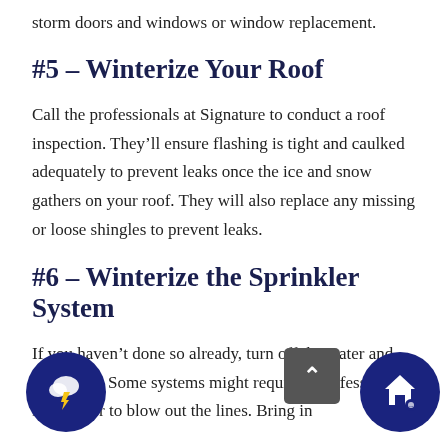storm doors and windows or window replacement.
#5 – Winterize Your Roof
Call the professionals at Signature to conduct a roof inspection. They'll ensure flashing is tight and caulked adequately to prevent leaks once the ice and snow gathers on your roof. They will also replace any missing or loose shingles to prevent leaks.
#6 – Winterize the Sprinkler System
If you haven't done so already, turn off the water and hose lines. Some systems might require a professional landscaper to blow out the lines. Bring in